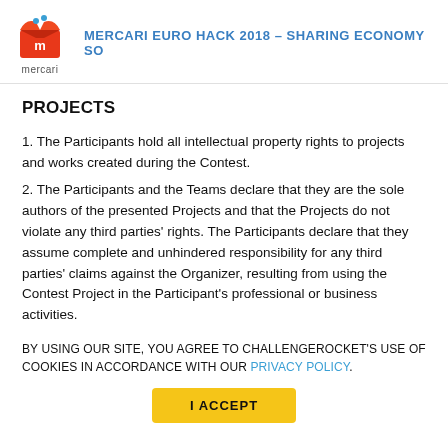MERCARI EURO HACK 2018 – SHARING ECONOMY SO
PROJECTS
1. The Participants hold all intellectual property rights to projects and works created during the Contest.
2. The Participants and the Teams declare that they are the sole authors of the presented Projects and that the Projects do not violate any third parties' rights. The Participants declare that they assume complete and unhindered responsibility for any third parties' claims against the Organizer, resulting from using the Contest Project in the Participant's professional or business activities.
BY USING OUR SITE, YOU AGREE TO CHALLENGEROCKET'S USE OF COOKIES IN ACCORDANCE WITH OUR PRIVACY POLICY.
I ACCEPT